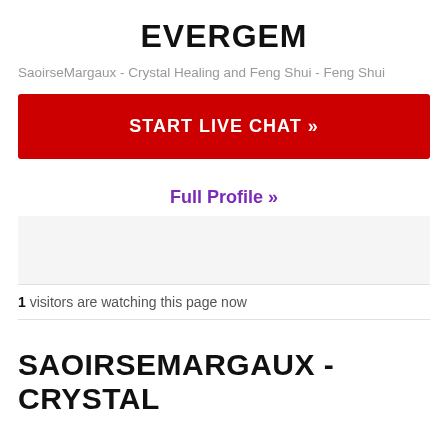EVERGEM
SaoirseMargaux - Crystal Healing and Feng Shui - Feng Shui
START LIVE CHAT »
Full Profile »
[Figure (other): Gray placeholder box]
1 visitors are watching this page now
SAOIRSEMARGAUX - CRYSTAL